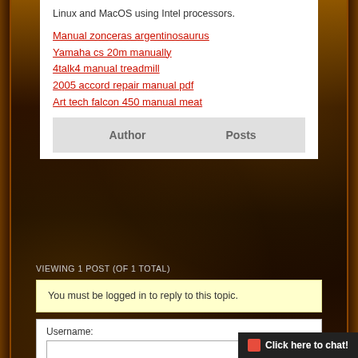Linux and MacOS using Intel processors.
Manual zonceras argentinosaurus
Yamaha cs 20m manually
4talk4 manual treadmill
2005 accord repair manual pdf
Art tech falcon 450 manual meat
| Author | Posts |
| --- | --- |
VIEWING 1 POST (OF 1 TOTAL)
You must be logged in to reply to this topic.
Username: